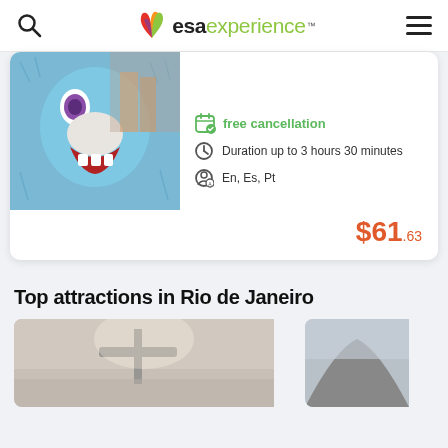esaexperience
[Figure (photo): Carnival costume character with blue fur and red open mouth]
free cancellation
Duration up to 3 hours 30 minutes
En, Es, Pt
$61.63
Top attractions in Rio de Janeiro
[Figure (photo): Christ the Redeemer statue silhouette against hazy sky]
[Figure (photo): Mountain in fog, partial view]